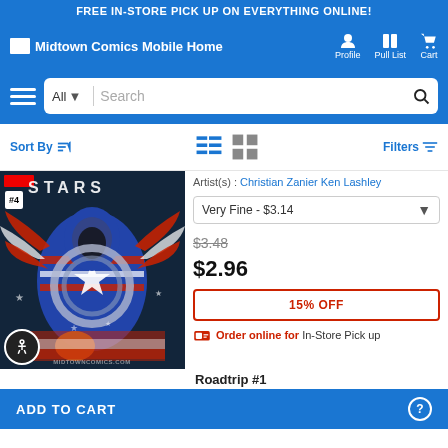FREE IN-STORE PICK UP ON EVERYTHING ONLINE!
Midtown Comics Mobile Home | Profile | Pull List | Cart
All  Search
Sort By | Filters
[Figure (screenshot): Comic book cover for a STARS title from Image Comics, featuring a patriotic armored character with American flag motifs, red white and blue design with stars and stripes elements. Watermark: MIDTOWNCOMICS.COM]
Artist(s) : Christian Zanier Ken Lashley
Very Fine - $3.14
$3.48 (strikethrough original price)
$2.96
15% OFF
Order online for In-Store Pick up
ADD TO CART
Roadtrip #1